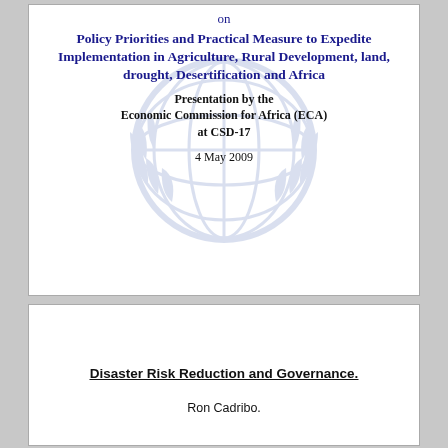on
Policy Priorities and Practical Measure to Expedite Implementation in Agriculture, Rural Development, land, drought, Desertification and Africa
Presentation by the
Economic Commission for Africa (ECA)
at CSD-17
4 May 2009
Disaster Risk Reduction and Governance.
Ron Cadribo.